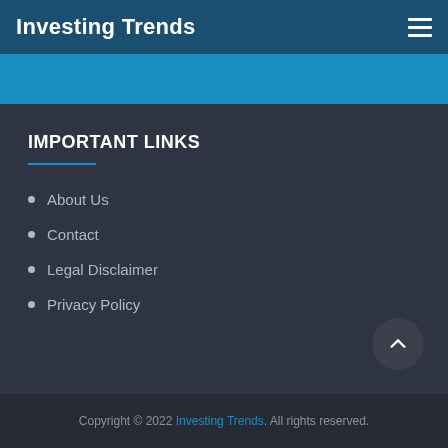Investing Trends
IMPORTANT LINKS
About Us
Contact
Legal Disclaimer
Privacy Policy
Copyright © 2022 Investing Trends. All rights reserved.